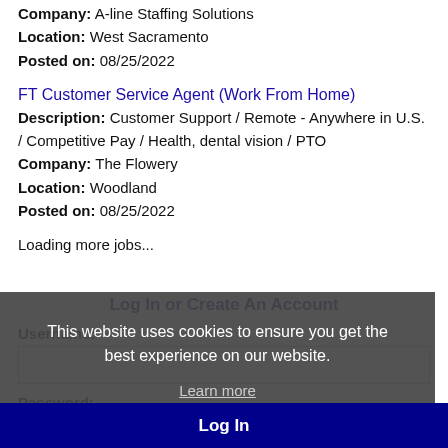Company: A-line Staffing Solutions
Location: West Sacramento
Posted on: 08/25/2022
FT Customer Service Agent (Work From Home)
Description: Customer Support / Remote - Anywhere in U.S. / Competitive Pay / Health, dental vision / PTO
Company: The Flowery
Location: Woodland
Posted on: 08/25/2022
Loading more jobs...
Log In or Create An Account
Username:
Password:
Log In
This website uses cookies to ensure you get the best experience on our website.
Learn more
Got it!